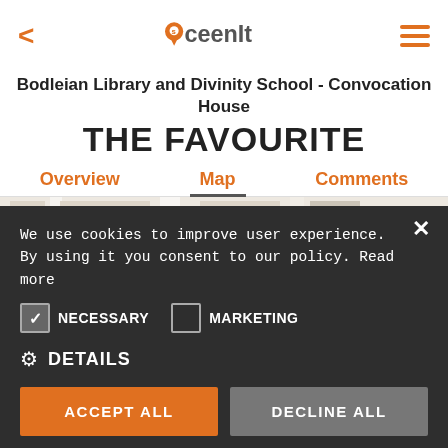[Figure (logo): Sceenit app logo with location pin icon, orange and grey]
Bodleian Library and Divinity School - Convocation House
THE FAVOURITE
Overview   Map   Comments
[Figure (map): Partial street map showing location near Bodleian Library]
We use cookies to improve user experience. By using it you consent to our policy. Read more
NECESSARY   MARKETING
DETAILS
ACCEPT ALL   DECLINE ALL